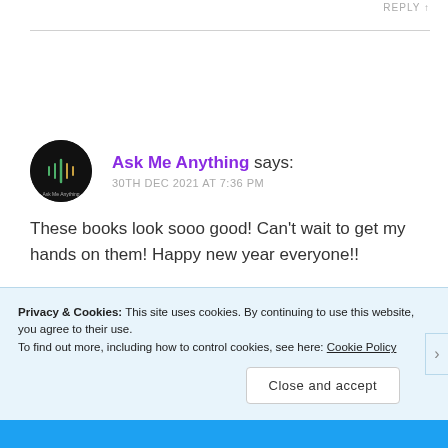REPLY ↑
Ask Me Anything says:
30TH DEC 2021 AT 7:36 PM
These books look sooo good! Can't wait to get my hands on them! Happy new year everyone!!
Privacy & Cookies: This site uses cookies. By continuing to use this website, you agree to their use.
To find out more, including how to control cookies, see here: Cookie Policy
Close and accept